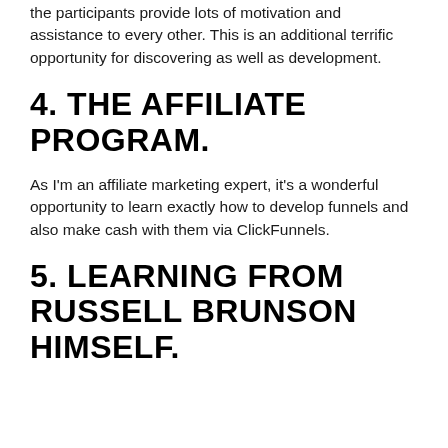the participants provide lots of motivation and assistance to every other. This is an additional terrific opportunity for discovering as well as development.
4. THE AFFILIATE PROGRAM.
As I'm an affiliate marketing expert, it's a wonderful opportunity to learn exactly how to develop funnels and also make cash with them via ClickFunnels.
5. LEARNING FROM RUSSELL BRUNSON HIMSELF.